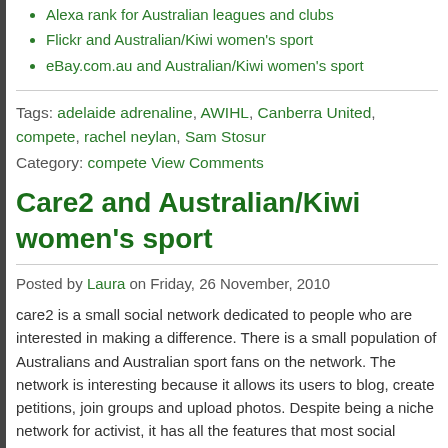Alexa rank for Australian leagues and clubs
Flickr and Australian/Kiwi women's sport
eBay.com.au and Australian/Kiwi women's sport
Tags: adelaide adrenaline, AWIHL, Canberra United, compete, rachel neylan, Sam Stosur
Category: compete View Comments
Care2 and Australian/Kiwi women's sport
Posted by Laura on Friday, 26 November, 2010
care2 is a small social network dedicated to people who are interested in making a difference. There is a small population of Australians and Australian sport fans on the network. The network is interesting because it allows its users to blog, create petitions, join groups and upload photos. Despite being a niche network for activist, it has all the features that most social networks have an its users